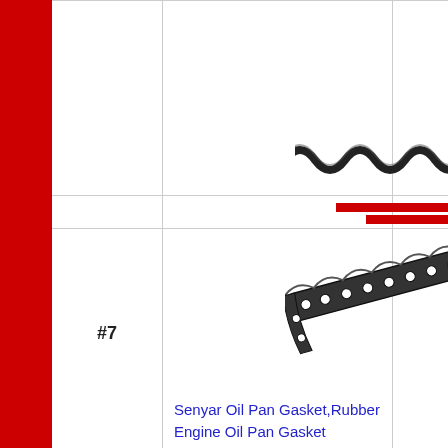[Figure (photo): Top gasket strip - a curved rubber engine oil pan gasket piece shown from above]
[Figure (photo): Middle section showing rubber engine oil pan gasket pieces with bolt holes, shown at an angle]
#7
Senyar Oil Pan Gasket,Rubber Engine Oil Pan Gasket Replacement Accessory 11251-P2A-014
[Figure (photo): Bottom gasket strip with circular holes/cutouts along its length]